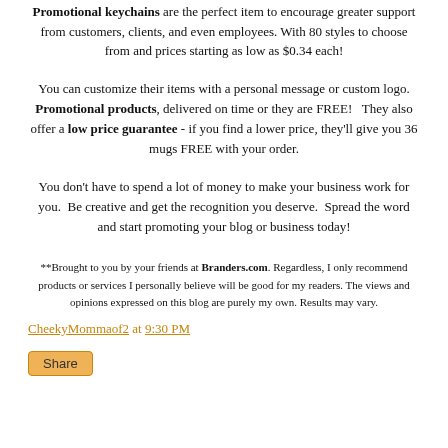Promotional keychains are the perfect item to encourage greater support from customers, clients, and even employees. With 80 styles to choose from and prices starting as low as $0.34 each!
You can customize their items with a personal message or custom logo. Promotional products, delivered on time or they are FREE! They also offer a low price guarantee - if you find a lower price, they'll give you 36 mugs FREE with your order.
You don't have to spend a lot of money to make your business work for you. Be creative and get the recognition you deserve. Spread the word and start promoting your blog or business today!
**Brought to you by your friends at Branders.com. Regardless, I only recommend products or services I personally believe will be good for my readers. The views and opinions expressed on this blog are purely my own. Results may vary.
CheekyMommaof2 at 9:30 PM
Share